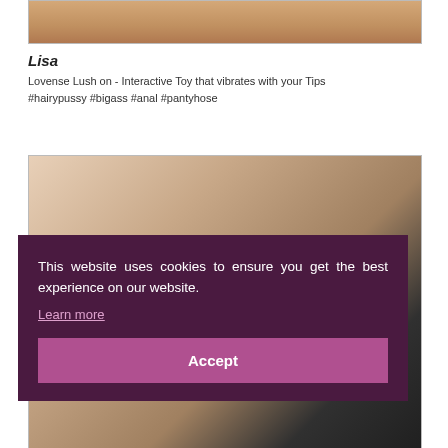[Figure (photo): Top portion of a photo showing a person, cropped at top of page]
Lisa
Lovense Lush on - Interactive Toy that vibrates with your Tips #hairypussy #bigass #anal #pantyhose
[Figure (photo): Photo showing a person in black underwear, partially obscured by cookie consent overlay]
This website uses cookies to ensure you get the best experience on our website. Learn more
Accept